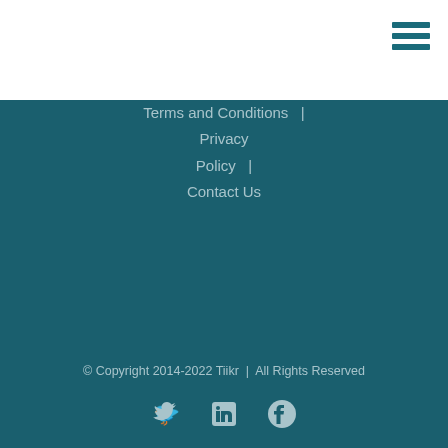[Figure (other): Hamburger menu icon (three horizontal lines) in teal/dark cyan color in the top-right corner]
Terms and Conditions  |  Privacy Policy  |  Contact Us
© Copyright 2014-2022 Tiikr  |  All Rights Reserved
[Figure (other): Social media icons: Twitter bird, LinkedIn box, Facebook circle]